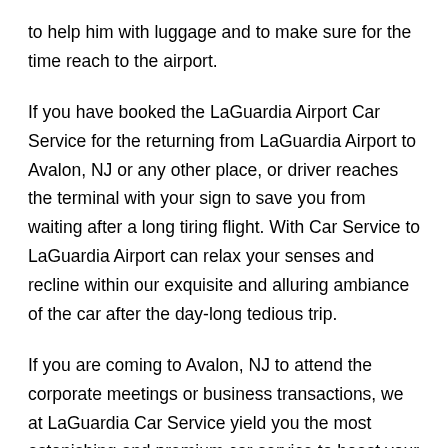to help him with luggage and to make sure for the time reach to the airport.
If you have booked the LaGuardia Airport Car Service for the returning from LaGuardia Airport to Avalon, NJ or any other place, or driver reaches the terminal with your sign to save you from waiting after a long tiring flight. With Car Service to LaGuardia Airport can relax your senses and recline within our exquisite and alluring ambiance of the car after the day-long tedious trip.
If you are coming to Avalon, NJ to attend the corporate meetings or business transactions, we at LaGuardia Car Service yield you the most astonishing and premium car service to boast your